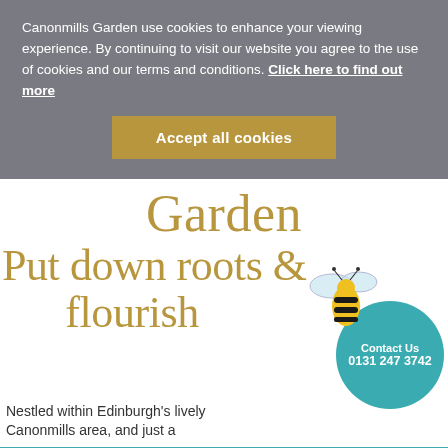Canonmills Garden use cookies to enhance your viewing experience. By continuing to visit our website you agree to the use of cookies and our terms and conditions. Click here to find out more
Accept all cookies
Garden
Put down roots & flourish
[Figure (illustration): Illustrated bee graphic overlapping a teal circular contact button showing 'Contact Us 0131 247 3742']
Nestled within Edinburgh's lively Canonmills area, and just a
Find your new home ›